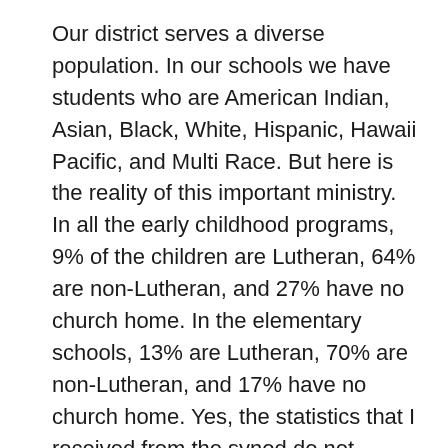Our district serves a diverse population. In our schools we have students who are American Indian, Asian, Black, White, Hispanic, Hawaii Pacific, and Multi Race. But here is the reality of this important ministry. In all the early childhood programs, 9% of the children are Lutheran, 64% are non-Lutheran, and 27% have no church home. In the elementary schools, 13% are Lutheran, 70% are non-Lutheran, and 17% have no church home. Yes, the statistics that I received from the synod do not indicate how many of the non-Lutheran children are Christian, but the statistics still tell us that these are very important ministries.
What can you do to help the schools in the Mid-South District? First of all, we should all pray that